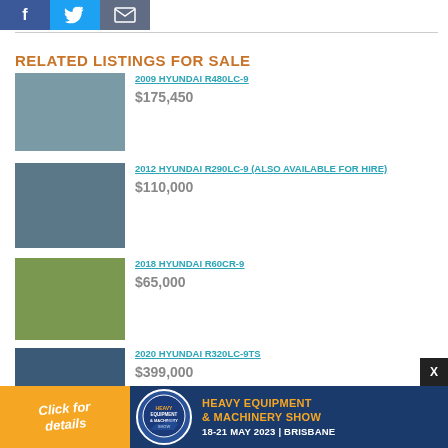[Figure (other): Social media share buttons: Facebook (blue), Twitter (light blue), Email (dark grey)]
RELATED LISTINGS FOR SALE
[Figure (photo): Yellow Hyundai excavator parked outside a building]
2009 HYUNDAI R480LC-9
$175,450
[Figure (photo): Large Hyundai excavator outdoors]
2012 HYUNDAI R290LC-9 (ALSO AVAILABLE FOR HIRE)
$110,000
[Figure (photo): Yellow Hyundai mini excavator outdoors near hay bales]
2018 HYUNDAI R60CR-9
$65,000
[Figure (photo): Hyundai excavator machinery, partial view]
2020 HYUNDAI R320LC-9TS
$399,000
[Figure (infographic): Advertisement banner: Heavy Equipment & Machinery Show, 18-21 May 2023, Brisbane. Orange left panel with 'Click for details', blue right panel with logo and event details.]